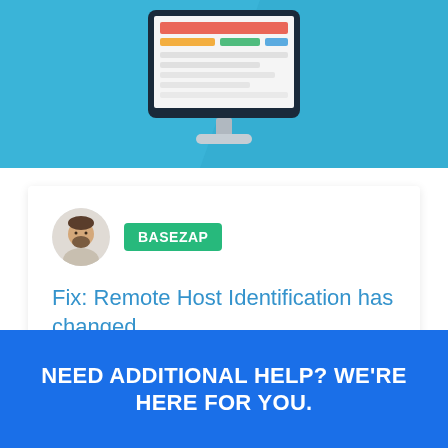[Figure (illustration): Light blue banner with a flat-design illustration of a desktop computer monitor showing colorful UI elements, with a diagonal shadow behind it.]
[Figure (photo): Small circular avatar of a bearded man, used as author profile image.]
BASEZAP
Fix: Remote Host Identification has changed
Updated on : Jun 7, 2018
Category : Linux/ Unix
NEED ADDITIONAL HELP? WE'RE HERE FOR YOU.